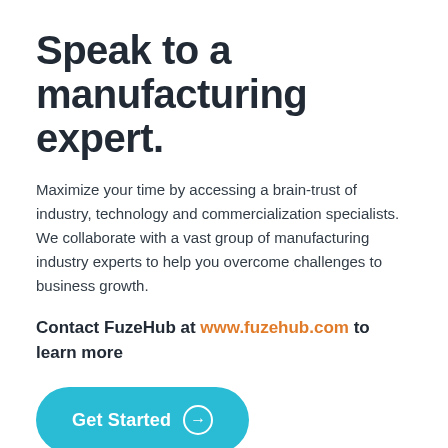Speak to a manufacturing expert.
Maximize your time by accessing a brain-trust of industry, technology and commercialization specialists. We collaborate with a vast group of manufacturing industry experts to help you overcome challenges to business growth.
Contact FuzeHub at www.fuzehub.com to learn more
[Figure (other): Teal rounded button labeled 'Get Started' with a circled arrow icon]
Join Our Mailing List
Stay updated on FuzeHub's latest news and